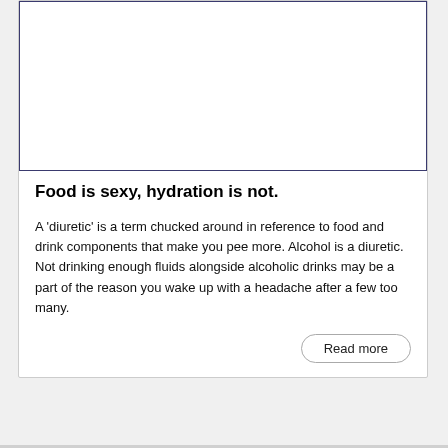[Figure (photo): Empty white image placeholder with dark blue border, no visible image content]
Food is sexy, hydration is not.
A 'diuretic' is a term chucked around in reference to food and drink components that make you pee more. Alcohol is a diuretic. Not drinking enough fluids alongside alcoholic drinks may be a part of the reason you wake up with a headache after a few too many.
Read more